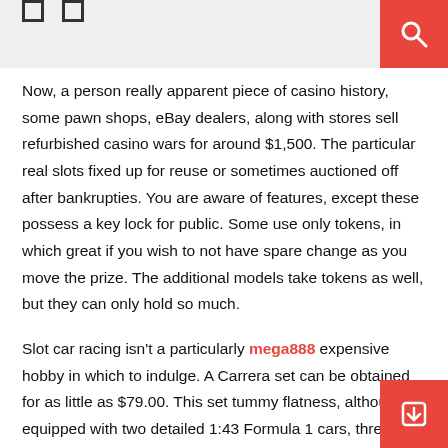[ ] [ ]  [search icon]
Now, a person really apparent piece of casino history, some pawn shops, eBay dealers, along with stores sell refurbished casino wars for around $1,500. The particular real slots fixed up for reuse or sometimes auctioned off after bankrupties. You are aware of features, except these possess a key lock for public. Some use only tokens, in which great if you wish to not have spare change as you move the prize. The additional models take tokens as well, but they can only hold so much.
Slot car racing isn't a particularly mega888 expensive hobby in which to indulge. A Carrera set can be obtained for as little as $79.00. This set tummy flatness, although equipped with two detailed 1:43 Formula 1 cars, three loops, a high-banked curve, a flyover and a lane narrowing chicane. Essential length in the track may very well be an incredible 35'. This set could be